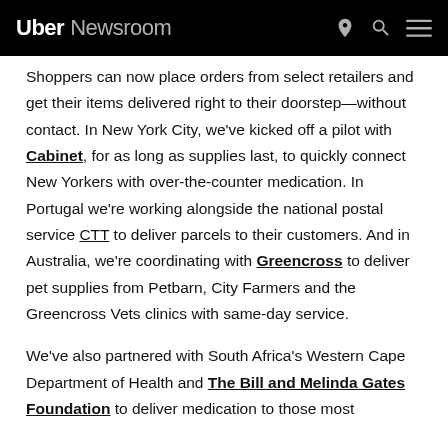Uber Newsroom
Shoppers can now place orders from select retailers and get their items delivered right to their doorstep—without contact. In New York City, we've kicked off a pilot with Cabinet, for as long as supplies last, to quickly connect New Yorkers with over-the-counter medication. In Portugal we're working alongside the national postal service CTT to deliver parcels to their customers. And in Australia, we're coordinating with Greencross to deliver pet supplies from Petbarn, City Farmers and the Greencross Vets clinics with same-day service.
We've also partnered with South Africa's Western Cape Department of Health and The Bill and Melinda Gates Foundation to deliver medication to those most